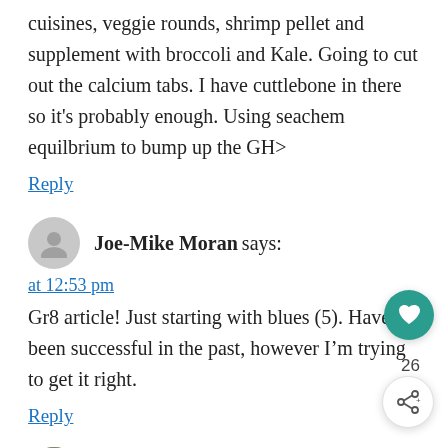cuisines, veggie rounds, shrimp pellet and supplement with broccoli and Kale. Going to cut out the calcium tabs. I have cuttlebone in there so it's probably enough. Using seachem equilbrium to bump up the GH>
Reply
Joe-Mike Moran says:
at 12:53 pm
Gr8 article! Just starting with blues (5). Haven't been successful in the past, however I'm trying to get it right.
Reply
Rob says: